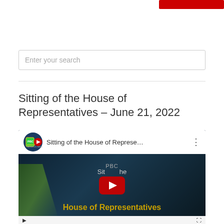[Figure (other): Red button in top right corner of page header]
[Figure (other): Search input box with placeholder text 'Enter your search']
Sitting of the House of Representatives – June 21, 2022
[Figure (screenshot): YouTube video embed showing PBC Jamaica video titled 'Sitting of the House of Represe...' with play button overlay. Video thumbnail shows text 'Sitting of the House of Representatives' over a dark background with Jamaican flag imagery.]